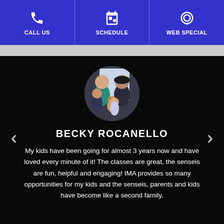CALL US | SCHEDULE | WEB SPECIAL
[Figure (photo): Circular profile photo of a family (two adults and two children) posing together indoors]
BECKY ROCANELLO
My kids have been going for almost 3 years now and have loved every minute of it! The classes are great, the senseis are fun, helpful and engaging! IMA provides so many opportunities for my kids and the senseis, parents and kids have become like a second family.